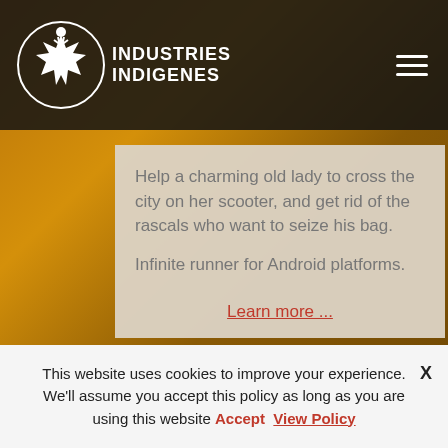[Figure (logo): Industries Indigenes logo - white illustrated figure with maple leaf, with bold white text reading INDUSTRIES INDIGENES]
Help a charming old lady to cross the city on her scooter, and get rid of the rascals who want to seize his bag.

Infinite runner for Android platforms.
Learn more ...
» Gamejunk
f
[Figure (other): Twitter bird icon in blue social share button]
G+
This website uses cookies to improve your experience. We'll assume you accept this policy as long as you are using this website Accept View Policy